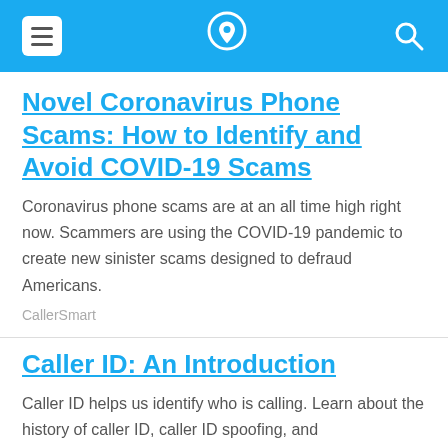[Header bar with hamburger menu, phone/location icon, and search icon]
Novel Coronavirus Phone Scams: How to Identify and Avoid COVID-19 Scams
Coronavirus phone scams are at an all time high right now. Scammers are using the COVID-19 pandemic to create new sinister scams designed to defraud Americans.
CallerSmart
Caller ID: An Introduction
Caller ID helps us identify who is calling. Learn about the history of caller ID, caller ID spoofing, and